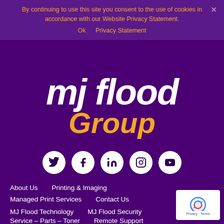By continuing to use this site you consent to the use of cookies in accordance with our Website Privacy Statement.
Ok   Privacy Statement
[Figure (logo): MJ Flood Group logo — 'mj flood' in large white italic bold text and 'Group' in large orange italic bold text, on a purple background]
[Figure (infographic): Row of 5 social media icons (Twitter, Facebook, LinkedIn, Instagram, YouTube) as white circles with dark purple icons]
About Us
Printing & Imaging
Managed Print Services
Contact Us
MJ Flood Technology
MJ Flood Security
Service – Parts – Toner
Remote Support